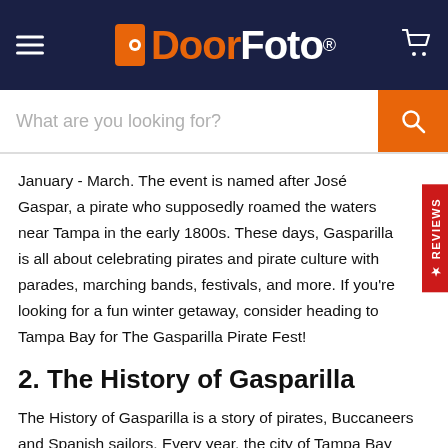DoorFoto™
January - March. The event is named after José Gaspar, a pirate who supposedly roamed the waters near Tampa in the early 1800s. These days, Gasparilla is all about celebrating pirates and pirate culture with parades, marching bands, festivals, and more. If you're looking for a fun winter getaway, consider heading to Tampa Bay for The Gasparilla Pirate Fest!
2. The History of Gasparilla
The History of Gasparilla is a story of pirates, Buccaneers and Spanish sailors. Every year, the city of Tampa Bay celebrates this history with a month-long festival that includes a Gasparilla Parade, concerts and street parties. This year's festival is set to take place from January 18-